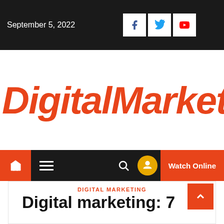September 5, 2022
DigitalMarketingMa
[Figure (screenshot): Navigation bar with home icon, hamburger menu, search icon, user icon, and Watch Online button]
DIGITAL MARKETING
Digital marketing: 7